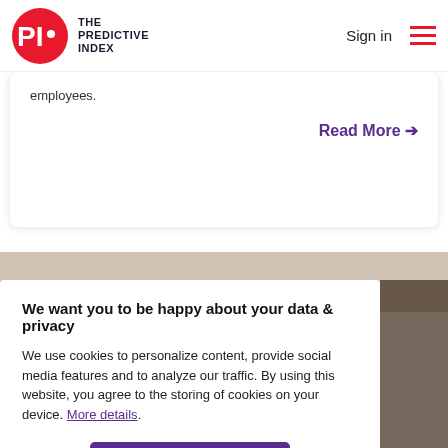THE PREDICTIVE INDEX | Sign in
employees.
Read More →
[Figure (photo): Background photo strip showing a workspace]
We want you to be happy about your data & privacy
We use cookies to personalize content, provide social media features and to analyze our traffic. By using this website, you agree to the storing of cookies on your device. More details.
I Understand